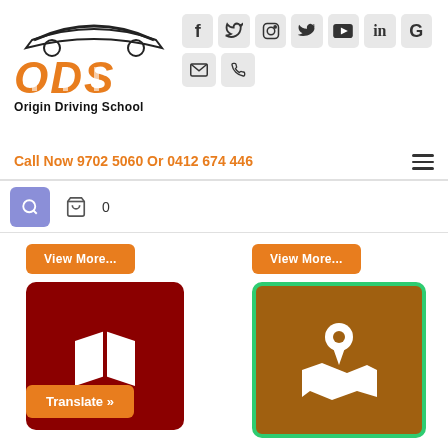[Figure (logo): Origin Driving School logo with ODS letters in orange and car outline above, subtitle reads Origin Driving School]
[Figure (infographic): Social media icons: Facebook, Twitter, Instagram, YouTube, LinkedIn, Google, Email, Phone arranged in two rows]
Call Now 9702 5060 Or 0412 674 446
[Figure (infographic): Search icon button (purple), cart icon with count 0]
View More...
View More...
[Figure (illustration): Dark red square icon with white open book/map icon]
[Figure (illustration): Brown square icon with green border showing white map pin and map icon]
Translate »